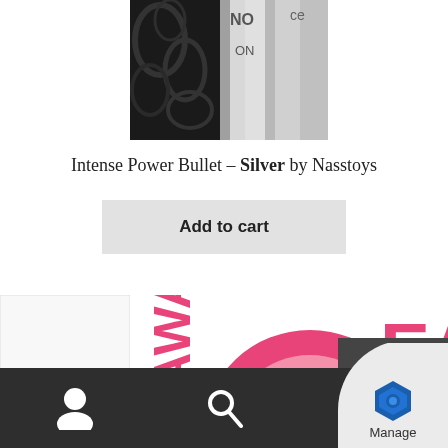[Figure (photo): Partial product image of Intense Power Bullet Silver, showing black and silver cylindrical product, cropped at top]
Intense Power Bullet – Silver by Nasstoys
Add to cart
[Figure (photo): Partial product image showing pink ring-shaped device with text 'BS AWA' and 'EAM' visible, price $26.70 overlay]
$26.70
[Figure (screenshot): Bottom navigation bar with user icon, search icon, and Manage badge with blue hexagon logo]